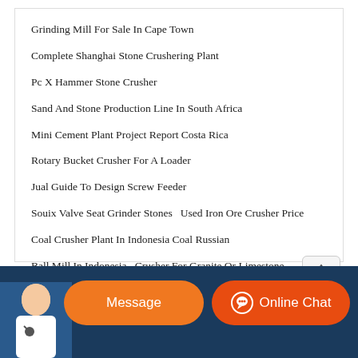Grinding Mill For Sale In Cape Town
Complete Shanghai Stone Crushering Plant
Pc X Hammer Stone Crusher
Sand And Stone Production Line In South Africa
Mini Cement Plant Project Report Costa Rica
Rotary Bucket Crusher For A Loader
Jual Guide To Design Screw Feeder
Souix Valve Seat Grinder Stones   Used Iron Ore Crusher Price
Coal Crusher Plant In Indonesia Coal Russian
Ball Mill In Indonesia   Crusher For Granite Or Limestone
[Figure (other): Bottom banner with customer service representative photo, orange Message button, and red Online Chat button]